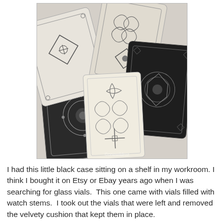[Figure (photo): A collection of decorative cards with intricate black and white ornamental patterns fanned out on a surface. The cards feature various geometric and floral designs.]
I had this little black case sitting on a shelf in my workroom. I think I bought it on Etsy or Ebay years ago when I was searching for glass vials.  This one came with vials filled with watch stems.  I took out the vials that were left and removed the velvety cushion that kept them in place.
[Figure (photo): Partially visible image at the bottom of the page, appears to be another photo related to the described case or vials.]